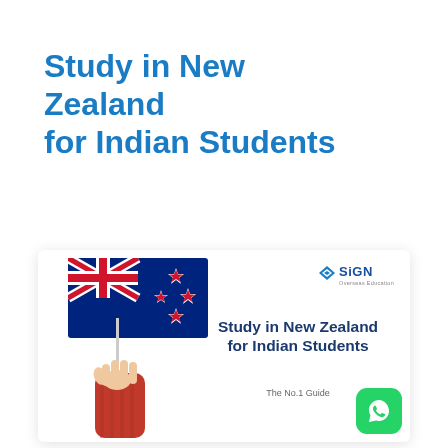Study in New Zealand for Indian Students
[Figure (illustration): Book cover showing a hand holding a New Zealand flag, with the SiGN Overseas Education logo, the text 'Study in New Zealand for Indian Students – The No.1 Guide', and a WhatsApp button in the bottom right corner.]